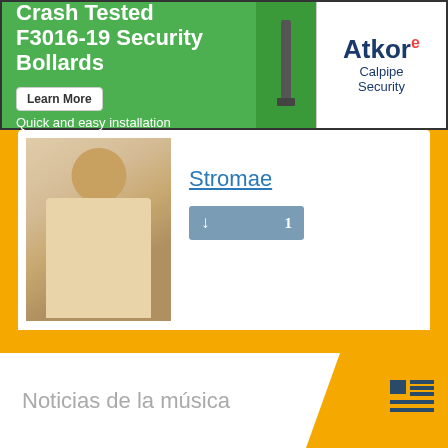[Figure (screenshot): Green advertisement banner for Atkore Calpipe Security F3016-19 Security Bollards with Learn More button]
[Figure (photo): Photo of Stromae, a man in a light beige shirt looking upward]
Stromae
[Figure (other): Download button with arrow icon and count 1]
[Figure (photo): Photo of J. Cole, a man with natural hair wearing an orange/mustard sweater]
J. Cole
[Figure (other): Download button with arrow icon and count 1]
Noticias de la música